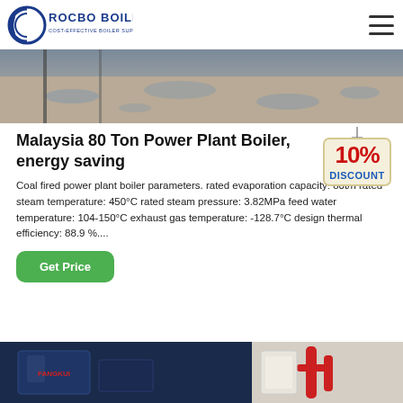ROCBO BOILER - COST-EFFECTIVE BOILER SUPPLIER
[Figure (photo): Aerial or ground-level photo of a power plant or industrial site with wet/flooded concrete surface]
Malaysia 80 Ton Power Plant Boiler, energy saving
Coal fired power plant boiler parameters. rated evaporation capacity: 80t/h rated steam temperature: 450°C rated steam pressure: 3.82MPa feed water temperature: 104-150°C exhaust gas temperature: -128.7°C design thermal efficiency: 88.9 %....
[Figure (photo): Industrial boiler equipment photo showing blue machinery and red pipes]